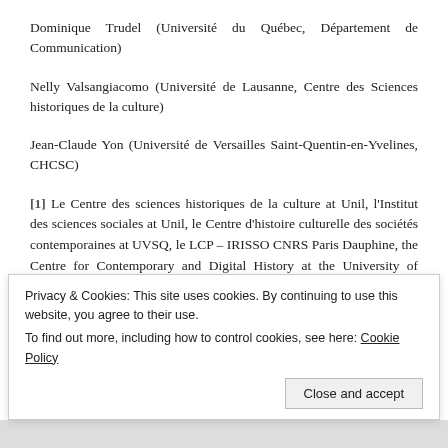Dominique Trudel (Université du Québec, Département de Communication)
Nelly Valsangiacomo (Université de Lausanne, Centre des Sciences historiques de la culture)
Jean-Claude Yon (Université de Versailles Saint-Quentin-en-Yvelines, CHCSC)
[1] Le Centre des sciences historiques de la culture at Unil, l'Institut des sciences sociales at Unil, le Centre d'histoire culturelle des sociétés contemporaines at UVSQ, le LCP – IRISSO CNRS Paris Dauphine, the Centre for Contemporary and Digital History at the University of Luxembourg, Carism at Université Paris 2 Panthéon-Assas, Irméccen at Université
Privacy & Cookies: This site uses cookies. By continuing to use this website, you agree to their use.
To find out more, including how to control cookies, see here: Cookie Policy